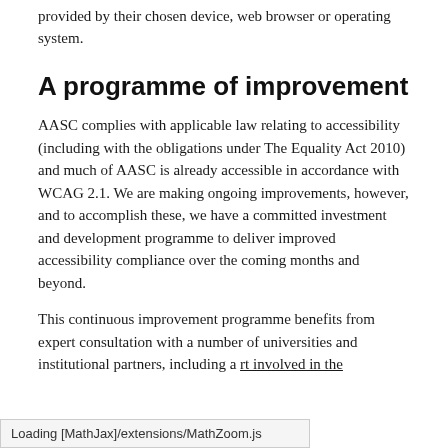provided by their chosen device, web browser or operating system.
A programme of improvement
AASC complies with applicable law relating to accessibility (including with the obligations under The Equality Act 2010) and much of AASC is already accessible in accordance with WCAG 2.1. We are making ongoing improvements, however, and to accomplish these, we have a committed investment and development programme to deliver improved accessibility compliance over the coming months and beyond.
This continuous improvement programme benefits from expert consultation with a number of universities and institutional partners, including a [Loading MathJax]/extensions/MathZoom.js rt involved in the
Loading [MathJax]/extensions/MathZoom.js